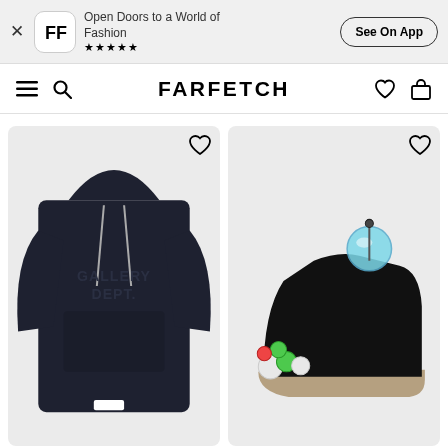Open Doors to a World of Fashion ★★★★★ | See On App
FARFETCH navigation bar with hamburger menu, search, wishlist, and bag icons
[Figure (photo): Gallery Dept. dark navy hoodie on white/light grey background with heart/wishlist icon]
[Figure (photo): Lanvin black sneaker with colorful bubble embellishments on sole and light blue bubble charm on tongue, on light grey background with heart/wishlist icon]